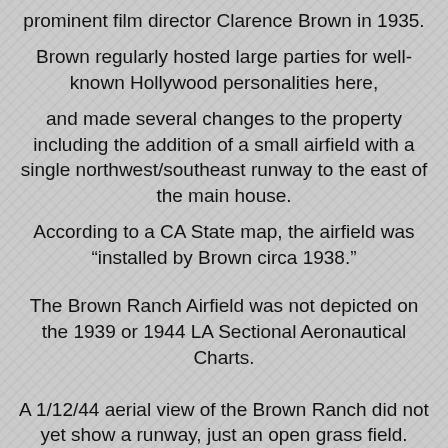prominent film director Clarence Brown in 1935.
Brown regularly hosted large parties for well-known Hollywood personalities here,
and made several changes to the property including the addition of a small airfield with a single northwest/southeast runway to the east of the main house.
According to a CA State map, the airfield was “installed by Brown circa 1938.”
The Brown Ranch Airfield was not depicted on the 1939 or 1944 LA Sectional Aeronautical Charts.
A 1/12/44 aerial view of the Brown Ranch did not yet show a runway, just an open grass field.